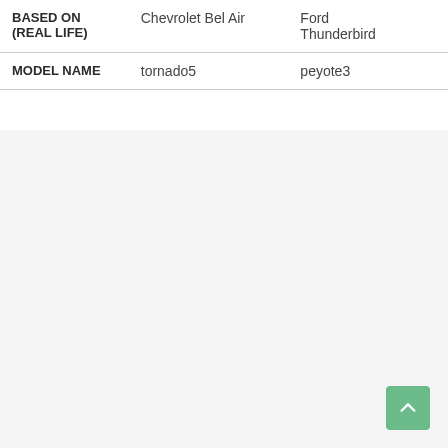|  | Col1 | Col2 |
| --- | --- | --- |
| BASED ON (REAL LIFE) | Chevrolet Bel Air | Ford Thunderbird |
| MODEL NAME | tornado5 | peyote3 |